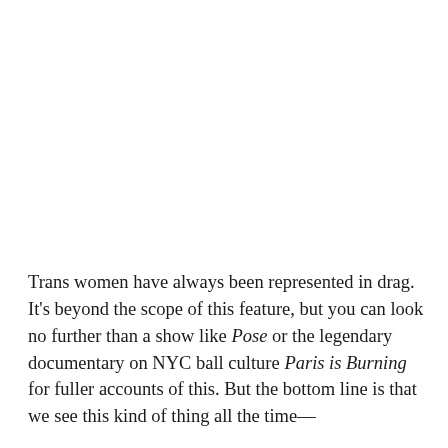Trans women have always been represented in drag. It's beyond the scope of this feature, but you can look no further than a show like Pose or the legendary documentary on NYC ball culture Paris is Burning for fuller accounts of this. But the bottom line is that we see this kind of thing all the time—